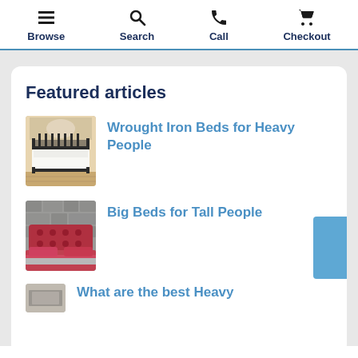Browse | Search | Call | Checkout
Featured articles
[Figure (photo): Photo of a wrought iron bed frame with white bedding on wooden floor]
Wrought Iron Beds for Heavy People
[Figure (photo): Photo of a red tufted headboard bed with red and grey bedding against grey stone wall]
Big Beds for Tall People
What are the best Heavy